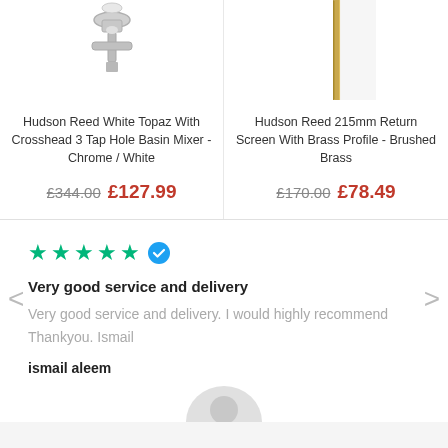[Figure (photo): Partial product image of Hudson Reed White Topaz tap fixture, chrome/white, cropped from top]
[Figure (photo): Partial product image of Hudson Reed 215mm Return Screen with Brass Profile, brushed brass, showing vertical bar]
Hudson Reed White Topaz With Crosshead 3 Tap Hole Basin Mixer - Chrome / White
£344.00 £127.99
Hudson Reed 215mm Return Screen With Brass Profile - Brushed Brass
£170.00 £78.49
[Figure (infographic): Five green stars rating with blue verified checkmark badge]
Very good service and delivery
Very good service and delivery. I would highly recommend Thankyou. Ismail
ismail aleem